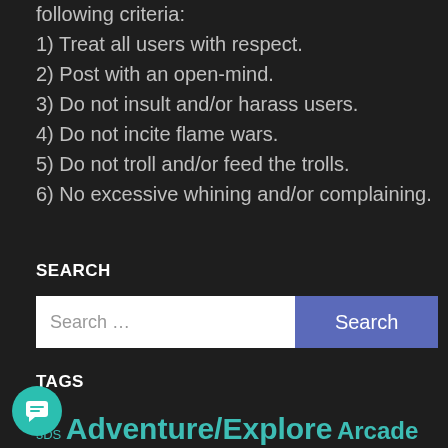following criteria:
1) Treat all users with respect.
2) Post with an open-mind.
3) Do not insult and/or harass users.
4) Do not incite flame wars.
5) Do not troll and/or feed the trolls.
6) No excessive whining and/or complaining.
SEARCH
Search ...
TAGS
3DS Adventure/Explore Arcade Brad Gallaway Capcom Consumer Game Guides Dreamcast Driving Editorials Everyone Fighting...